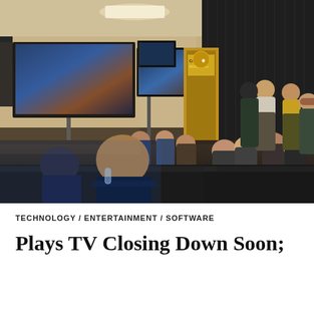[Figure (photo): Group of people seated on dark leather couches watching multiple TV screens displaying Call of Duty World League esports content in a lounge room setting. Two presenters stand at the front near the screens. Call of Duty World League banner is visible in the background.]
TECHNOLOGY / ENTERTAINMENT / SOFTWARE
Plays TV Closing Down Soon;